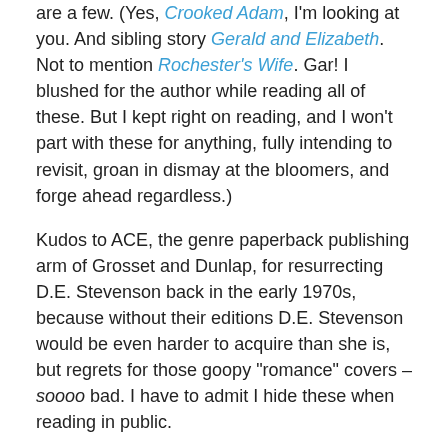are a few. (Yes, Crooked Adam, I'm looking at you. And sibling story Gerald and Elizabeth. Not to mention Rochester's Wife. Gar! I blushed for the author while reading all of these. But I kept right on reading, and I won't part with these for anything, fully intending to revisit, groan in dismay at the bloomers, and forge ahead regardless.)
Kudos to ACE, the genre paperback publishing arm of Grosset and Dunlap, for resurrecting D.E. Stevenson back in the early 1970s, because without their editions D.E. Stevenson would be even harder to acquire than she is, but regrets for those goopy “romance” covers – soooo bad. I have to admit I hide these when reading in public.
Well, we’ve had a fraught sort of summer this year, what with the local forest fires and all, and though we’ve come out the other side personally unscathed, we still feel rather